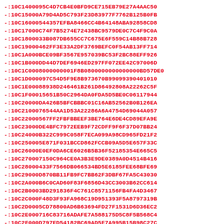-:10C1400095C4D7CB4E0BFD9CE715EB79E27A4AAC50
-:10C15000A79D4AD5C793F23D83977F7762B125B0FB
-:10C16000544357EFBA8466CC4B64148ABA92858CD8
-:10C17000C74F7B5274E72438BC9579DE0C7C4F9C0A
-:10C1800033B087DB655CC7C675E6F559C14B88B728
-:10C19000462FF3E33A2DF3769BEFC0F54AB13FF714
-:10C1A000BCE09BF3567E957039BC53F2BC88EFF926
-:10C1B000DD44D7DEF6946ED297FF072EE42C97006D
-:10C1C0008000000001F8B0800000000000000BD57DE0
-:10C1D000097C54D5F9E8B973670B99099390401010
-:10C1E00088938D246461B261D86492808A22262C5F
-:10C1F00015651B50C2964DA0FDA5D5BE0C06117944
-:10C20000DA426B5BFCBBBC01C16AB52562B0B126EA
-:10C2100076544AA1D53A22286A6A4754D69044A057
-:10C22000567FF2FBFBBEEF3BE764E6DE4CD89EFA9E
-:10C23000DE4BFC7972EEB9F72CDFF9F6F37D07BB24
-:10C24000B322C999C058F7ECA099A98CD965FD21F2
-:10C250005E871F031BCCD862FCCB09A5D5E657F33C
-:10C26000E0EF0DA6CE6026B5B36F52185354E665C5
-:10C270007150C964CE0A3B3E9DE0389A0D4514B416
-:10C28000433F7566DB066534BD5E6185FEE68BFE69
-:10C29000D870BB11FB9FC7BB62F3DBF67FA5C43030
-:10C2A000B6C0CAD60F83F6856D43CC3003B62CC614
-:10C2B0003BD291836F4C761C8571156FB4FA4D3467
-:10C2C000F48D3F93FA968C19D951393F5A8797319B
-:10C2D0005CD78800AD6B63694FD27F1531D6D36EC2
-:10C2E000716C83716ADAFE7A588175D5C8F5B568C4
-:10C2F000D797ED54182BC69AD5F7A995B15B98C27C
-:10C3000006423FAD364F36C2ABC61AA479428FE61D
-:10C310008A5C18EDFE09B1B4FE21F03DCCE7C546BC